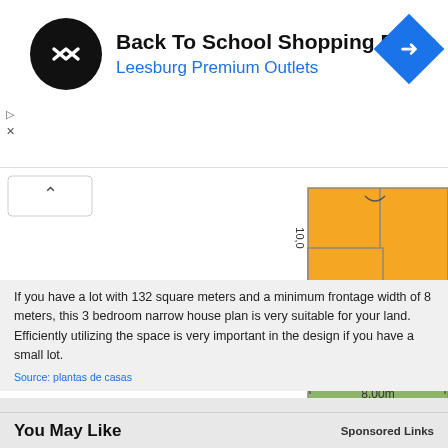[Figure (screenshot): Advertisement banner for Back To School Shopping Deals at Leesburg Premium Outlets, with a black circular logo with arrows, blue text, and a blue diamond navigation arrow icon.]
[Figure (engineering-diagram): Floor plan diagram of a narrow house on an 8.00m x 16.50m lot with orange upper floor sections and green front yard area labeled 'Frente', with dimension markers showing 8.00m width, 16.50m total height, 5.00m front yard, and 10.0m building depth.]
If you have a lot with 132 square meters and a minimum frontage width of 8 meters, this 3 bedroom narrow house plan is very suitable for your land. Efficiently utilizing the space is very important in the design if you have a small lot.
Source: plantas de casas
You May Like   Sponsored Links